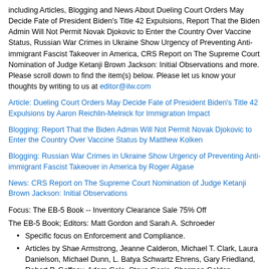including Articles, Blogging and News About Dueling Court Orders May Decide Fate of President Biden's Title 42 Expulsions, Report That the Biden Admin Will Not Permit Novak Djokovic to Enter the Country Over Vaccine Status, Russian War Crimes in Ukraine Show Urgency of Preventing Anti-immigrant Fascist Takeover in America, CRS Report on The Supreme Court Nomination of Judge Ketanji Brown Jackson: Initial Observations and more. Please scroll down to find the item(s) below. Please let us know your thoughts by writing to us at editor@ilw.com
Article: Dueling Court Orders May Decide Fate of President Biden's Title 42 Expulsions by Aaron Reichlin-Melnick for Immigration Impact
Blogging: Report That the Biden Admin Will Not Permit Novak Djokovic to Enter the Country Over Vaccine Status by Matthew Kolken
Blogging: Russian War Crimes in Ukraine Show Urgency of Preventing Anti-immigrant Fascist Takeover in America by Roger Algase
News: CRS Report on The Supreme Court Nomination of Judge Ketanji Brown Jackson: Initial Observations
Focus: The EB-5 Book -- Inventory Clearance Sale 75% Off
The EB-5 Book; Editors: Matt Gordon and Sarah A. Schroeder
Specific focus on Enforcement and Compliance.
Articles by Shae Armstrong, Jeanne Calderon, Michael T. Clark, Laura Danielson, Michael Dunn, L. Batya Schwartz Ehrens, Gary Friedland, Robert P. Gaffney, Adam Gale, Steve Ganis, Sherman Golden, Douglas Hauer, Jennifer Hermansky (Jen), Parisa K. Karaahmet, Mark Katzoff, Lily Li, Brandon Meyer, John Neill, Angelo A. Paparelli, Chun Yun ("Elizabeth") Pong, John Roth, Paul